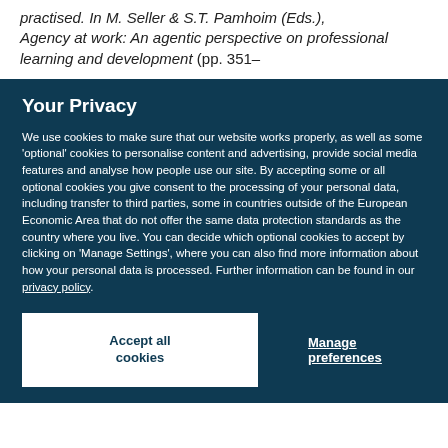practised. In M. Seller & S.T. Pamhoim (Eds.), Agency at work: An agentic perspective on professional learning and development (pp. 351–
Your Privacy
We use cookies to make sure that our website works properly, as well as some 'optional' cookies to personalise content and advertising, provide social media features and analyse how people use our site. By accepting some or all optional cookies you give consent to the processing of your personal data, including transfer to third parties, some in countries outside of the European Economic Area that do not offer the same data protection standards as the country where you live. You can decide which optional cookies to accept by clicking on 'Manage Settings', where you can also find more information about how your personal data is processed. Further information can be found in our privacy policy.
Accept all cookies
Manage preferences